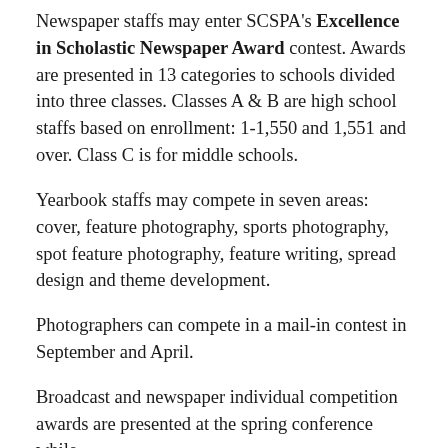Newspaper staffs may enter SCSPA's Excellence in Scholastic Newspaper Award contest. Awards are presented in 13 categories to schools divided into three classes. Classes A & B are high school staffs based on enrollment: 1-1,550 and 1,551 and over. Class C is for middle schools.
Yearbook staffs may compete in seven areas: cover, feature photography, sports photography, spot feature photography, feature writing, spread design and theme development.
Photographers can compete in a mail-in contest in September and April.
Broadcast and newspaper individual competition awards are presented at the spring conference while